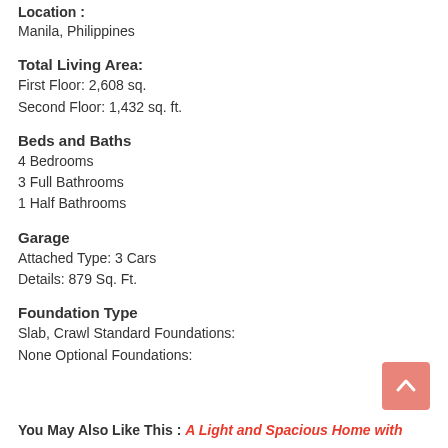Location :
Manila, Philippines
Total Living Area:
First Floor: 2,608 sq.
Second Floor: 1,432 sq. ft.
Beds and Baths
4 Bedrooms
3 Full Bathrooms
1 Half Bathrooms
Garage
Attached Type: 3 Cars
Details: 879 Sq. Ft.
Foundation Type
Slab, Crawl Standard Foundations:
None Optional Foundations:
You May Also Like This : A Light and Spacious Home with